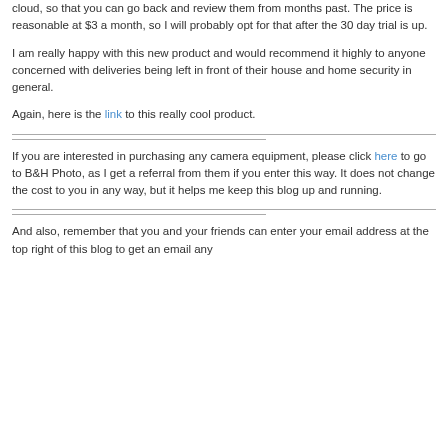cloud, so that you can go back and review them from months past. The price is reasonable at $3 a month, so I will probably opt for that after the 30 day trial is up.
I am really happy with this new product and would recommend it highly to anyone concerned with deliveries being left in front of their house and home security in general.
Again, here is the link to this really cool product.
If you are interested in purchasing any camera equipment, please click here to go to B&H Photo, as I get a referral from them if you enter this way. It does not change the cost to you in any way, but it helps me keep this blog up and running.
And also, remember that you and your friends can enter your email address at the top right of this blog to get an email any